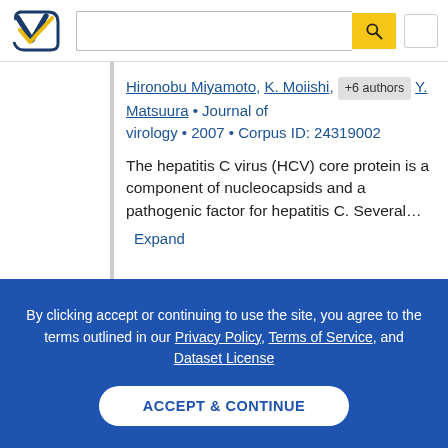[Figure (logo): Semantic Scholar logo - blue and yellow checkmark/book icon]
Hironobu Miyamoto, K. Moiishi, +6 authors Y. Matsuura · Journal of virology · 2007 · Corpus ID: 24319002
The hepatitis C virus (HCV) core protein is a component of nucleocapsids and a pathogenic factor for hepatitis C. Several…
Expand
By clicking accept or continuing to use the site, you agree to the terms outlined in our Privacy Policy, Terms of Service, and Dataset License
ACCEPT & CONTINUE